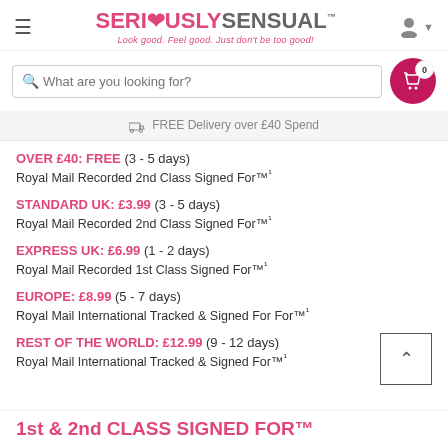SERI❤USLYSENSUAL™ Look good. Feel good. Just don't be too good!
What are you looking for?
FREE Delivery over £40 Spend
OVER £40: FREE (3 - 5 days)
Royal Mail Recorded 2nd Class Signed For™¹
STANDARD UK: £3.99 (3 - 5 days)
Royal Mail Recorded 2nd Class Signed For™¹
EXPRESS UK: £6.99 (1 - 2 days)
Royal Mail Recorded 1st Class Signed For™¹
EUROPE: £8.99 (5 - 7 days)
Royal Mail International Tracked & Signed For For™¹
REST OF THE WORLD: £12.99 (9 - 12 days)
Royal Mail International Tracked & Signed For™¹
1st & 2nd CLASS SIGNED FOR™